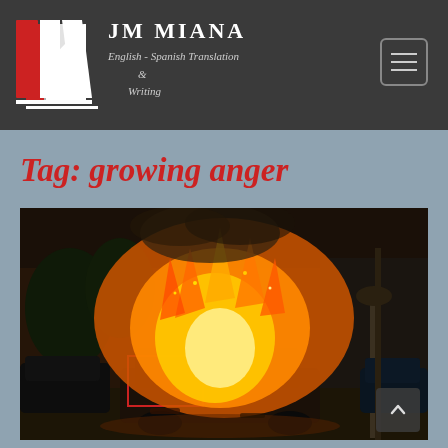JM MIANA English - Spanish Translation & Writing
Tag: growing anger
[Figure (photo): A car engulfed in large orange flames on a city street, with other vehicles and a decorative lamppost visible nearby. The scene suggests urban unrest or riot.]